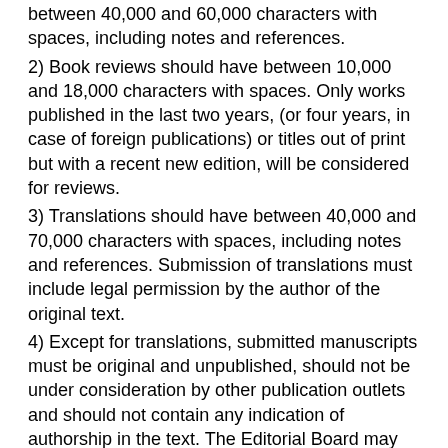between 40,000 and 60,000 characters with spaces, including notes and references.
2) Book reviews should have between 10,000 and 18,000 characters with spaces. Only works published in the last two years, (or four years, in case of foreign publications) or titles out of print but with a recent new edition, will be considered for reviews.
3) Translations should have between 40,000 and 70,000 characters with spaces, including notes and references. Submission of translations must include legal permission by the author of the original text.
4) Except for translations, submitted manuscripts must be original and unpublished, should not be under consideration by other publication outlets and should not contain any indication of authorship in the text. The Editorial Board may verify the occurrence of double submission, plagiarism and other intellectual misconduct. Manuscripts may include the authors' previously published material only when clearly